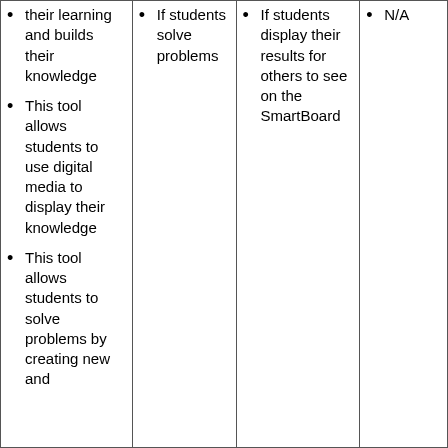their learning and builds their knowledge
This tool allows students to use digital media to display their knowledge
This tool allows students to solve problems by creating new and
If students solve problems
If students display their results for others to see on the SmartBoard
N/A